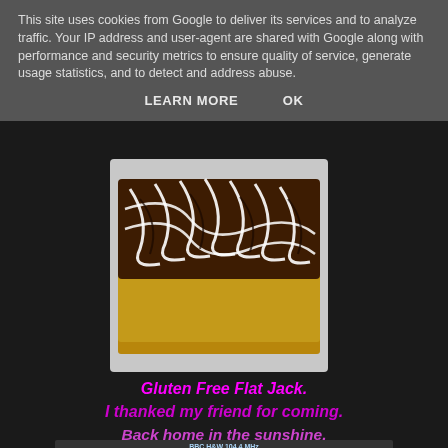This site uses cookies from Google to deliver its services and to analyze traffic. Your IP address and user-agent are shared with Google along with performance and security metrics to ensure quality of service, generate usage statistics, and to detect and address abuse.
LEARN MORE    OK
[Figure (photo): Close-up photo of a decorated flat biscuit/brownie with chocolate and white cream swirl pattern on top, placed on a plate]
Gluten Free Flat Jack.
I thanked my friend for coming.
Back home in the sunshine.
[Figure (photo): Car radio display showing BBC H&W 104.4 MHz, temperature 9.0°C, time 12:38, with radio station presets visible below]